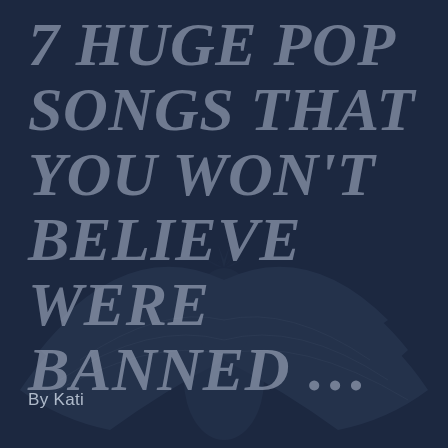7 HUGE POP SONGS THAT YOU WON'T BELIEVE WERE BANNED ...
By Kati